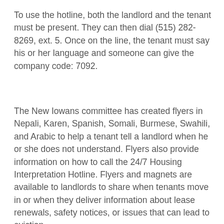To use the hotline, both the landlord and the tenant must be present. They can then dial (515) 282-8269, ext. 5. Once on the line, the tenant must say his or her language and someone can give the company code: 7092.
The New Iowans committee has created flyers in Nepali, Karen, Spanish, Somali, Burmese, Swahili, and Arabic to help a tenant tell a landlord when he or she does not understand. Flyers also provide information on how to call the 24/7 Housing Interpretation Hotline. Flyers and magnets are available to landlords to share when tenants move in or when they deliver information about lease renewals, safety notices, or issues that can lead to eviction.